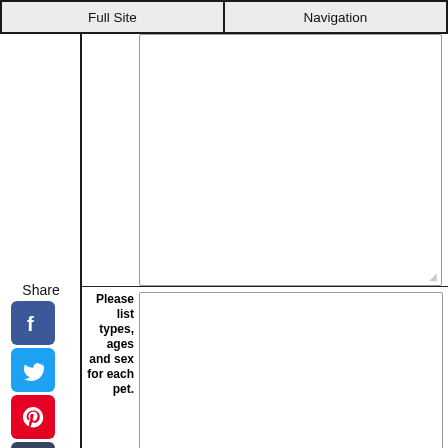Full Site | Navigation
Share
Please list types, ages and sex for each pet.
Tell us about the dog's personality, quirks, history and concerns.*
Please describe any health issues or concerns with the dog.*